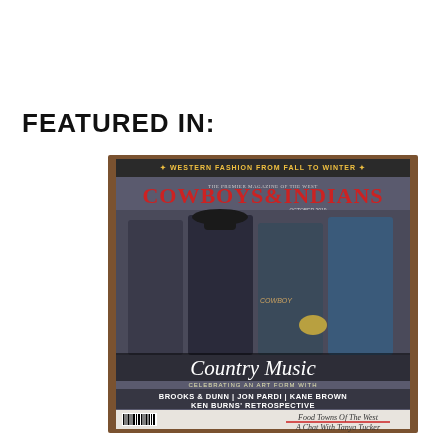FEATURED IN:
[Figure (photo): Magazine cover of Cowboys & Indians, October 2019 issue. Cover features four men (country music artists Brooks & Dunn, Jon Pardi, Kane Brown) posing on a dark background. Red Cowboys & Indians logo at top, 'Country Music' in large white script, 'CELEBRATING AN ART FORM WITH', 'BROOKS & DUNN | JON PARDI | KANE BROWN', 'KEN BURNS' RETROSPECTIVE', 'Food Towns Of The West', 'A Chat With Tanya Tucker'. Top banner reads 'WESTERN FASHION FROM FALL TO WINTER'.]